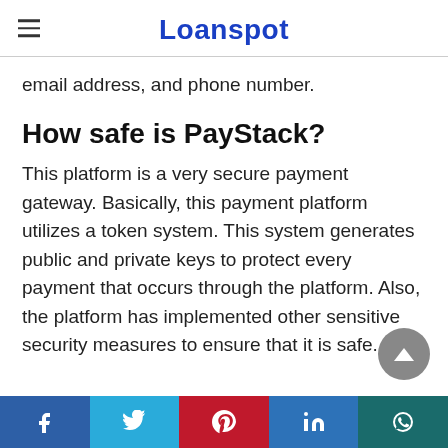Loanspot
email address, and phone number.
How safe is PayStack?
This platform is a very secure payment gateway. Basically, this payment platform utilizes a token system. This system generates public and private keys to protect every payment that occurs through the platform. Also, the platform has implemented other sensitive security measures to ensure that it is safe.
Social share icons: Facebook, Twitter, Pinterest, LinkedIn, WhatsApp